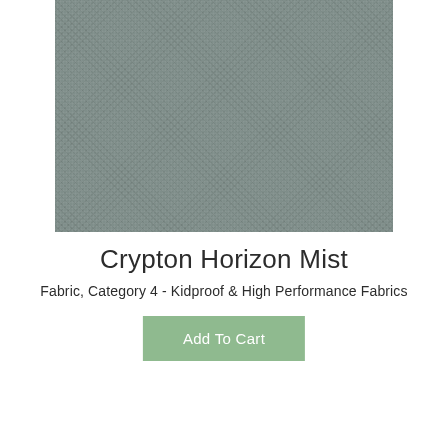[Figure (photo): Close-up swatch of Crypton Horizon Mist fabric — a medium grey-green textured woven fabric]
Crypton Horizon Mist
Fabric, Category 4 - Kidproof & High Performance Fabrics
Add To Cart